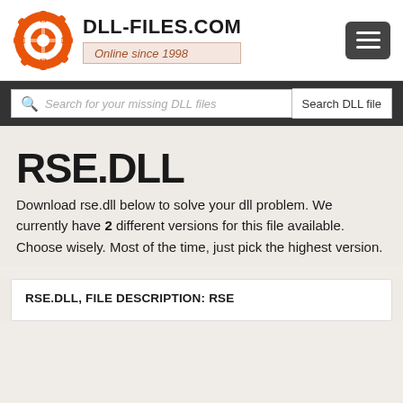[Figure (logo): DLL-Files.com orange gear/lifesaver logo with site name DLL-FILES.COM and tagline Online since 1998]
DLL-FILES.COM
Online since 1998
Search for your missing DLL files
RSE.DLL
Download rse.dll below to solve your dll problem. We currently have 2 different versions for this file available.
Choose wisely. Most of the time, just pick the highest version.
RSE.DLL, FILE DESCRIPTION: RSE